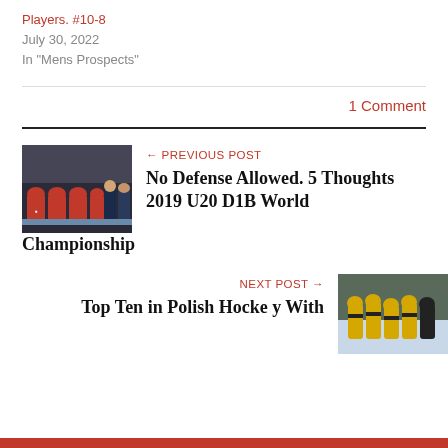Players. #10-8
July 30, 2022
In "Mens Prospects"
1 Comment
[Figure (photo): Hockey team bench photo, players in red jerseys with coaches]
← PREVIOUS POST
No Defense Allowed. 5 Thoughts 2019 U20 D1B World Championship
NEXT POST →
Top Ten in Polish Hockey With
[Figure (photo): Hockey players celebrating on ice, yellow/black jerseys]